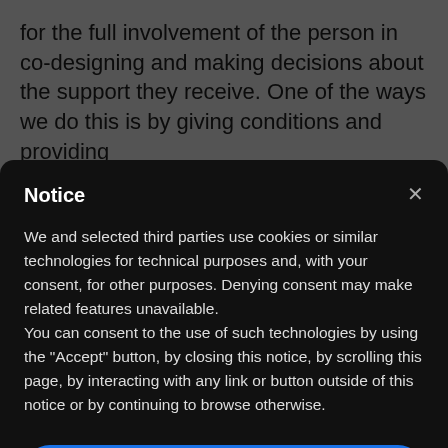for the full involvement of the person in co-designing and making decisions about the support they receive. One of the ways we do this is by giving conditions and providing...
Notice
We and selected third parties use cookies or similar technologies for technical purposes and, with your consent, for other purposes. Denying consent may make related features unavailable.
You can consent to the use of such technologies by using the "Accept" button, by closing this notice, by scrolling this page, by interacting with any link or button outside of this notice or by continuing to browse otherwise.
Accept
Learn more and customize